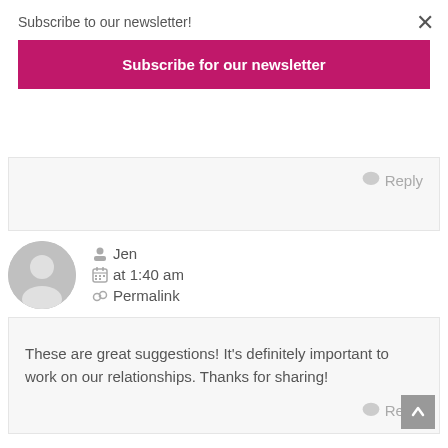Subscribe to our newsletter!
Subscribe for our newsletter
Reply
Jen
at 1:40 am
Permalink
These are great suggestions! It's definitely important to work on our relationships. Thanks for sharing!
Reply